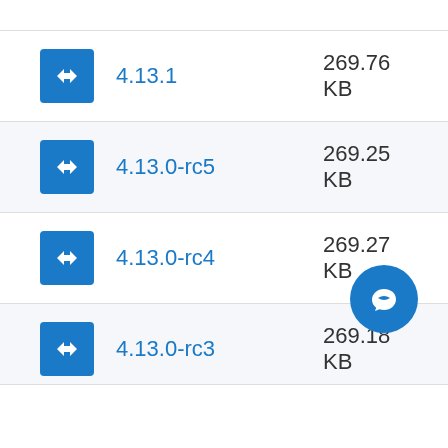4.13.1 — 269.76 KB
4.13.0-rc5 — 269.25 KB
4.13.0-rc4 — 269.27 KB
4.13.0-rc3 — 269.18 KB